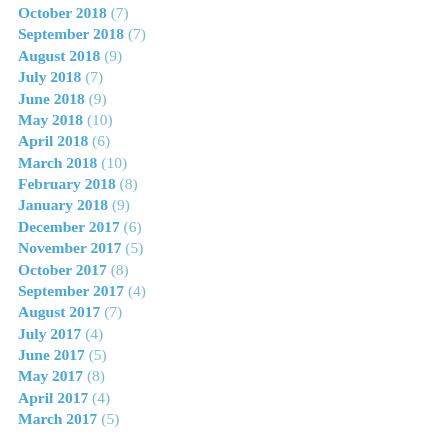October 2018 (7)
September 2018 (7)
August 2018 (9)
July 2018 (7)
June 2018 (9)
May 2018 (10)
April 2018 (6)
March 2018 (10)
February 2018 (8)
January 2018 (9)
December 2017 (6)
November 2017 (5)
October 2017 (8)
September 2017 (4)
August 2017 (7)
July 2017 (4)
June 2017 (5)
May 2017 (8)
April 2017 (4)
March 2017 (5)